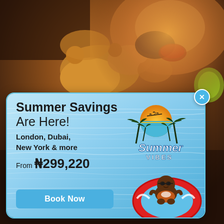[Figure (photo): Background photo of fried calamari/chicken food on a wooden restaurant table, warm brown tones, bokeh background with dim lighting]
[Figure (infographic): Summer Savings travel promotion popup card with light blue water background, Summer Vibes logo with palm trees and sunset, baby in red inflatable ring float on water. Text: Summer Savings Are Here!, London Dubai New York & more, From N299,220, Book Now button. Close X button top right.]